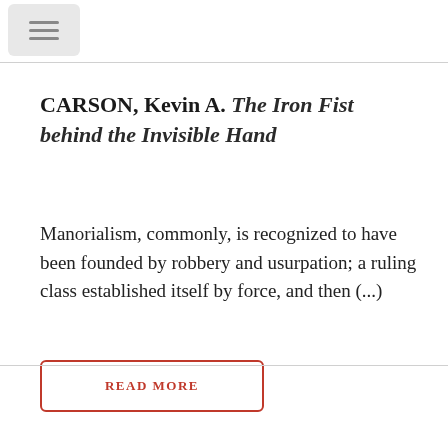☰
CARSON, Kevin A. The Iron Fist behind the Invisible Hand
Manorialism, commonly, is recognized to have been founded by robbery and usurpation; a ruling class established itself by force, and then (...)
READ MORE